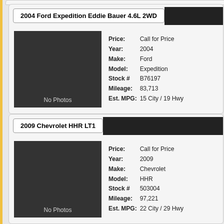2004 Ford Expedition Eddie Bauer 4.6L 2WD
[Figure (photo): No Photos placeholder image (dark rectangle)]
Price: Call for Price
Year: 2004
Make: Ford
Model: Expedition
Stock # B76197
Mileage: 83,713
Est. MPG: 15 City / 19 Hwy
2009 Chevrolet HHR LT1
[Figure (photo): No Photos placeholder image (dark rectangle)]
Price: Call for Price
Year: 2009
Make: Chevrolet
Model: HHR
Stock # 503004
Mileage: 97,221
Est. MPG: 22 City / 29 Hwy